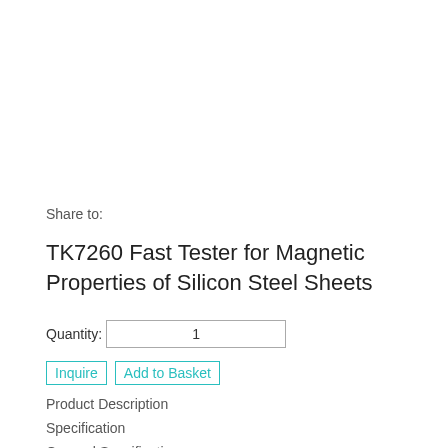Share to:
TK7260 Fast Tester for Magnetic Properties of Silicon Steel Sheets
Quantity: 1
Inquire   Add to Basket
Product Description
Specification
General Specification
Introduction